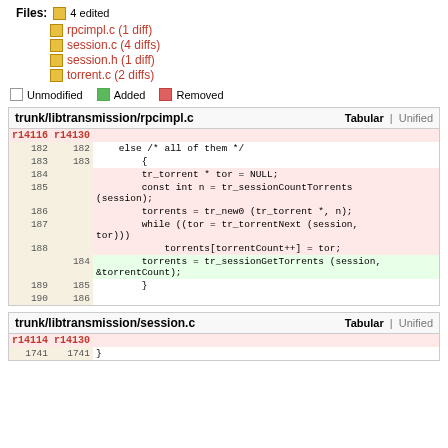Files: 4 edited
rpcimpl.c (1 diff)
session.c (4 diffs)
session.h (1 diff)
torrent.c (2 diffs)
Unmodified  Added  Removed
| r14116 | r14130 | code |
| --- | --- | --- |
| 182 | 182 |     else /* all of them */ |
| 183 | 183 |         { |
| 184 |  |         tr_torrent * tor = NULL; |
| 185 |  |         const int n = tr_sessionCountTorrents (session); |
| 186 |  |         torrents = tr_new0 (tr_torrent *, n); |
| 187 |  |         while ((tor = tr_torrentNext (session, tor))) |
| 188 |  |             torrents[torrentCount++] = tor; |
|  | 184 |         torrents = tr_sessionGetTorrents (session, &torrentCount); |
| 189 | 185 |         } |
| 190 | 186 |  |
trunk/libtransmission/rpcimpl.c — Tabular | Unified
| r14114 | r14130 | code |
| --- | --- | --- |
| 1741 | 1741 | } |
trunk/libtransmission/session.c — Tabular | Unified